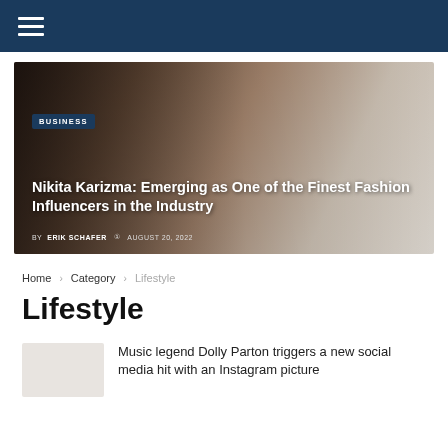Navigation header with hamburger menu
[Figure (photo): Hero image showing a woman in black outfit posing with a small white dog against a light background. Overlaid with article title and metadata.]
Nikita Karizma: Emerging as One of the Finest Fashion Influencers in the Industry
BY ERIK SCHAFER  AUGUST 20, 2022
Home > Category > Lifestyle
Lifestyle
Music legend Dolly Parton triggers a new social media hit with an Instagram picture